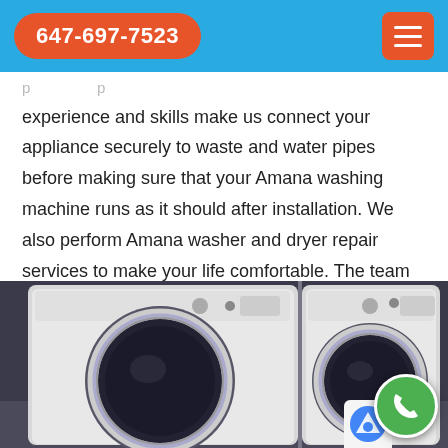647-697-7523
experience and skills make us connect your appliance securely to waste and water pipes before making sure that your Amana washing machine runs as it should after installation. We also perform Amana washer and dryer repair services to make your life comfortable. The team Appliance Repair Aurora ensures an efficient and polite service tailored to you.
[Figure (photo): Two front-loading washing machines (white) side by side installed in a room]